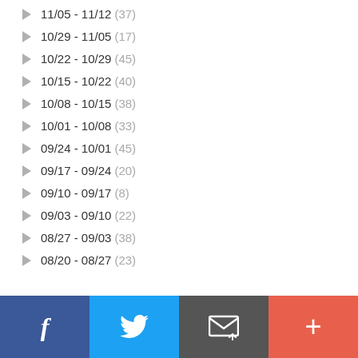▶ 11/05 - 11/12 (37)
▶ 10/29 - 11/05 (17)
▶ 10/22 - 10/29 (45)
▶ 10/15 - 10/22 (40)
▶ 10/08 - 10/15 (38)
▶ 10/01 - 10/08 (33)
▶ 09/24 - 10/01 (45)
▶ 09/17 - 09/24 (20)
▶ 09/10 - 09/17 (8)
▶ 09/03 - 09/10 (22)
▶ 08/27 - 09/03 (38)
▶ 08/20 - 08/27 (23)
[Figure (infographic): Social share buttons: Facebook (blue), Twitter (light blue), Email (dark gray), Plus/More (orange-red)]